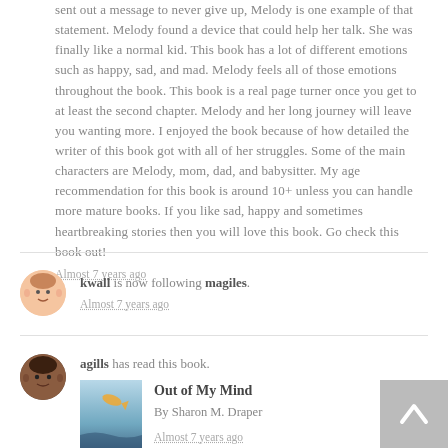sent out a message to never give up, Melody is one example of that statement. Melody found a device that could help her talk. She was finally like a normal kid. This book has a lot of different emotions such as happy, sad, and mad. Melody feels all of those emotions throughout the book. This book is a real page turner once you get to at least the second chapter. Melody and her long journey will leave you wanting more. I enjoyed the book because of how detailed the writer of this book got with all of her struggles. Some of the main characters are Melody, mom, dad, and babysitter. My age recommendation for this book is around 10+ unless you can handle more mature books. If you like sad, happy and sometimes heartbreaking stories then you will love this book. Go check this book out!
Almost 7 years ago
kwall is now following magiles.
Almost 7 years ago
agills has read this book.
Out of My Mind
By Sharon M. Draper
Almost 7 years ago